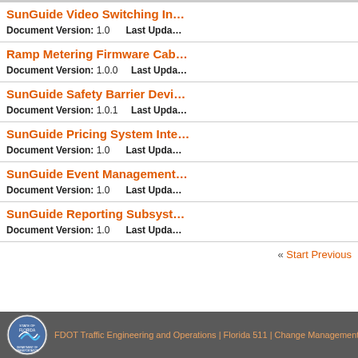SunGuide Video Switching In…
Document Version: 1.0    Last Upda…
Ramp Metering Firmware Cab…
Document Version: 1.0.0    Last Upda…
SunGuide Safety Barrier Devi…
Document Version: 1.0.1    Last Upda…
SunGuide Pricing System Inte…
Document Version: 1.0    Last Upda…
SunGuide Event Management…
Document Version: 1.0    Last Upda…
SunGuide Reporting Subsyst…
Document Version: 1.0    Last Upda…
« Start Previous
FDOT Traffic Engineering and Operations | Florida 511 | Change Management B…